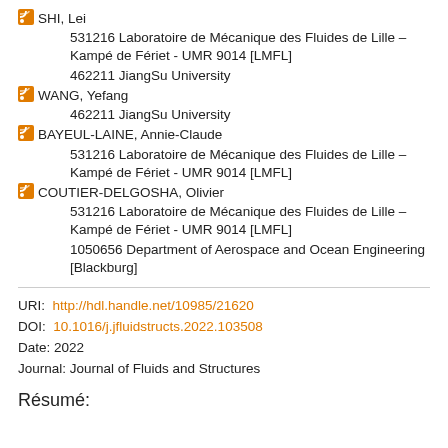SHI, Lei
531216 Laboratoire de Mécanique des Fluides de Lille – Kampé de Fériet - UMR 9014 [LMFL]
462211 JiangSu University
WANG, Yefang
462211 JiangSu University
BAYEUL-LAINE, Annie-Claude
531216 Laboratoire de Mécanique des Fluides de Lille – Kampé de Fériet - UMR 9014 [LMFL]
COUTIER-DELGOSHA, Olivier
531216 Laboratoire de Mécanique des Fluides de Lille – Kampé de Fériet - UMR 9014 [LMFL]
1050656 Department of Aerospace and Ocean Engineering [Blackburg]
URI:  http://hdl.handle.net/10985/21620
DOI:  10.1016/j.jfluidstructs.2022.103508
Date: 2022
Journal: Journal of Fluids and Structures
Résumé: